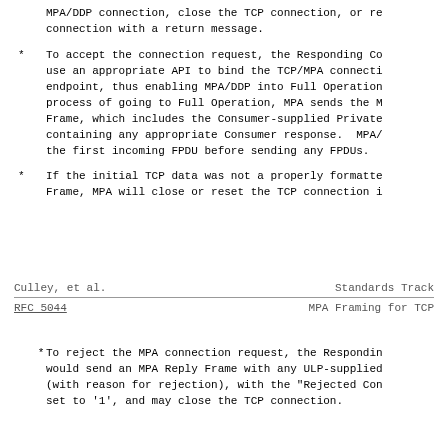MPA/DDP connection, close the TCP connection, or reject the connection with a return message.
To accept the connection request, the Responding Consumer use an appropriate API to bind the TCP/MPA connection to an endpoint, thus enabling MPA/DDP into Full Operation. In the process of going to Full Operation, MPA sends the MPA Reply Frame, which includes the Consumer-supplied Private Data containing any appropriate Consumer response. MPA/DDP must receive the first incoming FPDU before sending any FPDUs.
If the initial TCP data was not a properly formatted MPA Request Frame, MPA will close or reset the TCP connection immediately.
Culley, et al.                    Standards Track
RFC 5044                    MPA Framing for TCP
To reject the MPA connection request, the Responding Consumer would send an MPA Reply Frame with any ULP-supplied Private Data (with reason for rejection), with the "Rejected Connection" bit set to '1', and may close the TCP connection.